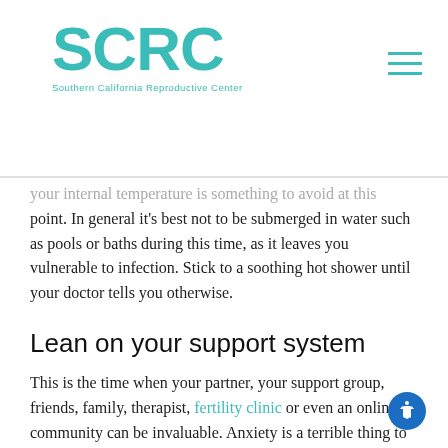SCRC Southern California Reproductive Center
your internal temperature is something to avoid at this point. In general it's best not to be submerged in water such as pools or baths during this time, as it leaves you vulnerable to infection. Stick to a soothing hot shower until your doctor tells you otherwise.
Lean on your support system
This is the time when your partner, your support group, friends, family, therapist, fertility clinic or even an online community can be invaluable. Anxiety is a terrible thing to live through, and isolation makes it even worse. Do try to shoulder your stress alone. Let other people cheer